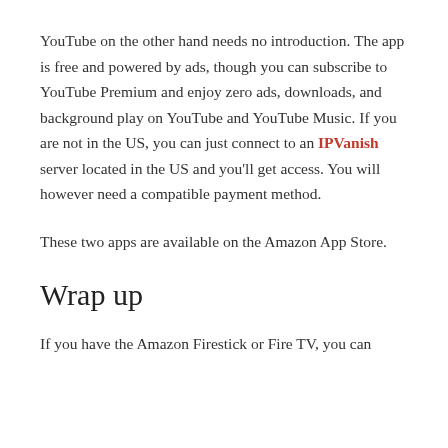YouTube on the other hand needs no introduction. The app is free and powered by ads, though you can subscribe to YouTube Premium and enjoy zero ads, downloads, and background play on YouTube and YouTube Music. If you are not in the US, you can just connect to an IPVanish server located in the US and you'll get access. You will however need a compatible payment method.
These two apps are available on the Amazon App Store.
Wrap up
If you have the Amazon Firestick or Fire TV, you can